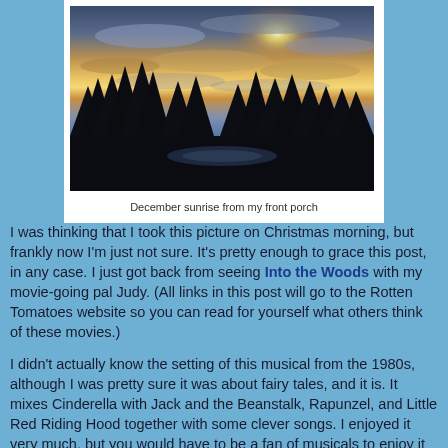[Figure (photo): A dramatic December sunrise photo showing silhouetted trees against a vivid sky with orange, gold, and blue clouds, taken from a front porch. Displayed in a white photo card frame.]
December sunrise from my front porch
I was thinking that I took this picture on Christmas morning, but frankly now I'm just not sure. It's pretty enough to grace this post, in any case. I just got back from seeing Into the Woods with my movie-going pal Judy. (All links in this post will go to the Rotten Tomatoes website so you can read for yourself what others think of these movies.)
I didn't actually know the setting of this musical from the 1980s, although I was pretty sure it was about fairy tales, and it is. It mixes Cinderella with Jack and the Beanstalk, Rapunzel, and Little Red Riding Hood together with some clever songs. I enjoyed it very much, but you would have to be a fan of musicals to enjoy it at all. I found it to be entertaining and fun. Meryl Streep is wonderful in it, but